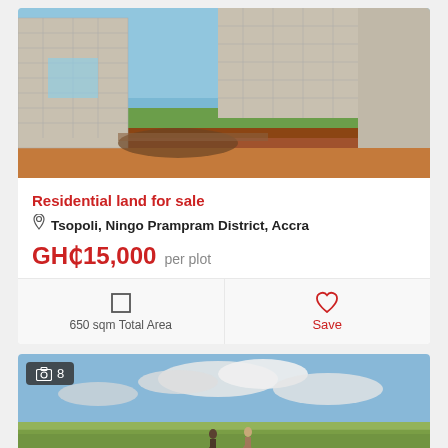[Figure (photo): Construction site photo showing partially built block walls with open sky and red earth ground in a rural area]
Residential land for sale
Tsopoli, Ningo Prampram District, Accra
GH₵15,000 per plot
650 sqm Total Area
Save
[Figure (photo): Open grassy field landscape with two people standing in the distance under a partly cloudy sky]